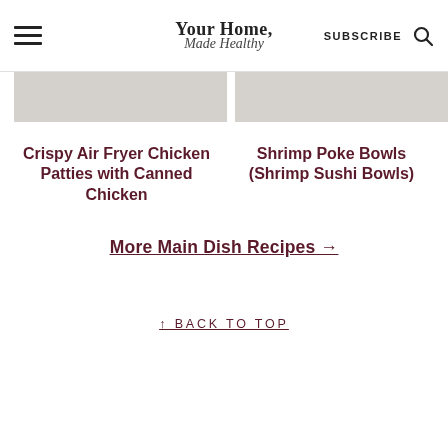Your Home, Made Healthy — SUBSCRIBE
[Figure (photo): Two food photos side by side, cropped at top — left shows a light gray/marble background food image, right shows a similar light background food image]
Crispy Air Fryer Chicken Patties with Canned Chicken
Shrimp Poke Bowls (Shrimp Sushi Bowls)
More Main Dish Recipes →
↑ BACK TO TOP